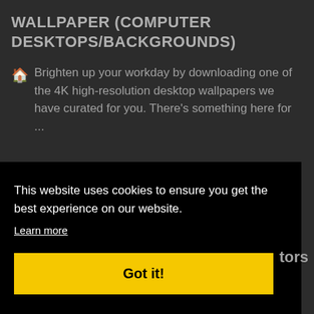WALLPAPER (COMPUTER DESKTOPS/BACKGROUNDS)
Brighten up your workday by downloading one of the 4K high-resolution desktop wallpapers we have curated for you. There's something here for ...
This website uses cookies to ensure you get the best experience on our website.
Learn more
Got it!
tors